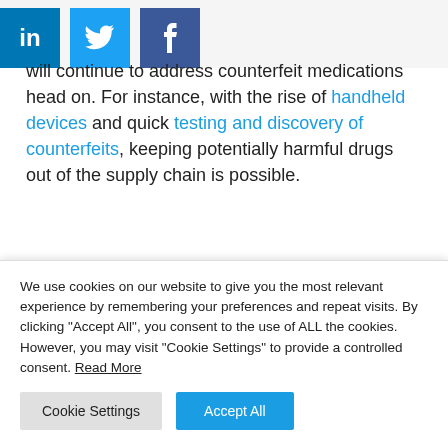[Figure (other): Social media share icons: LinkedIn (blue), Twitter (light blue), Facebook (dark blue)]
will continue to address counterfeit medications head on. For instance, with the rise of handheld devices and quick testing and discovery of counterfeits, keeping potentially harmful drugs out of the supply chain is possible.
The power of blockchain:
We use cookies on our website to give you the most relevant experience by remembering your preferences and repeat visits. By clicking "Accept All", you consent to the use of ALL the cookies. However, you may visit "Cookie Settings" to provide a controlled consent. Read More